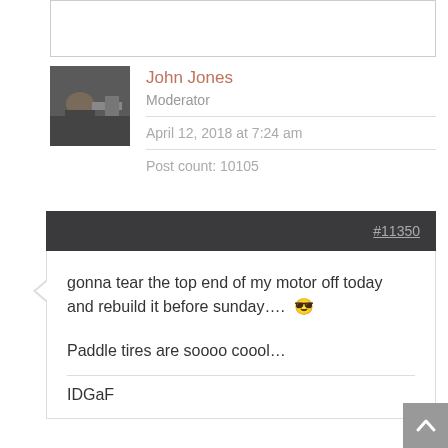[Figure (photo): Partial bordered box from previous forum post (top portion cut off)]
[Figure (photo): User avatar photo of John Jones — person reclining on a couch]
John Jones
Moderator
April 12, 2018 at 7:24 am
Post count: 10105
#11350
gonna tear the top end of my motor off today and rebuild it before sunday….  😎
Paddle tires are soooo coool…
IDGaF